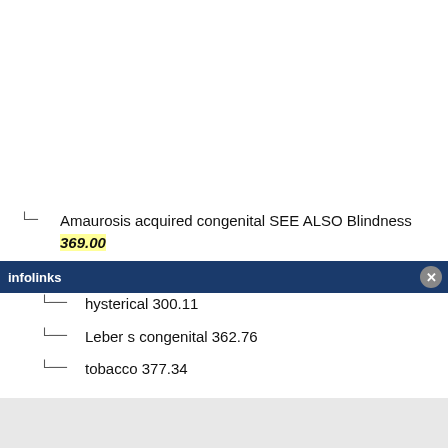Amaurosis acquired congenital SEE ALSO Blindness 369.00
fugax 362.34
hysterical 300.11
Leber s congenital 362.76
tobacco 377.34